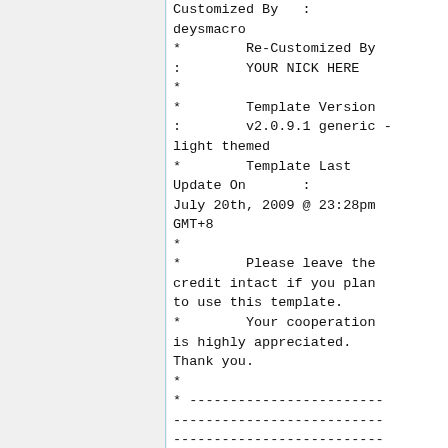Customized By   : deysmacro
*        Re-Customized By
:        YOUR NICK HERE
*
*        Template Version
:        v2.0.9.1 generic - light themed
*        Template Last Update On       :
July 20th, 2009 @ 23:28pm GMT+8
*
*        Please leave the credit intact if you plan to use this template.
*        Your cooperation is highly appreciated. Thank you.
*
* -----------------------------------------------------------------------------------------------------------------